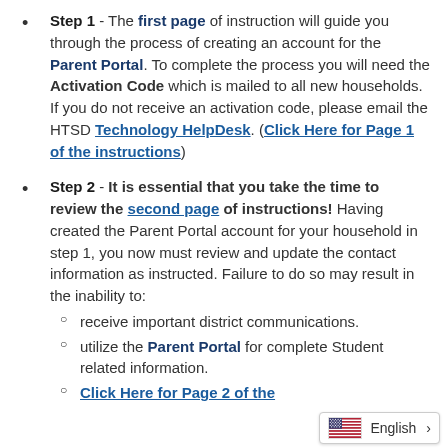Step 1 - The first page of instruction will guide you through the process of creating an account for the Parent Portal. To complete the process you will need the Activation Code which is mailed to all new households. If you do not receive an activation code, please email the HTSD Technology HelpDesk. (Click Here for Page 1 of the instructions)
Step 2 - It is essential that you take the time to review the second page of instructions! Having created the Parent Portal account for your household in step 1, you now must review and update the contact information as instructed. Failure to do so may result in the inability to:
receive important district communications.
utilize the Parent Portal for complete Student related information.
Click Here for Page 2 of the